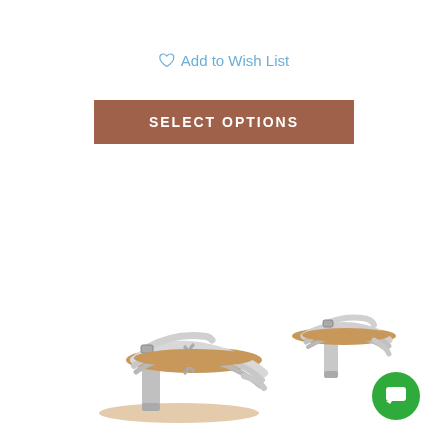♡ Add to Wish List
SELECT OPTIONS
[Figure (photo): Two silver strappy women's dance heels with thin heel, braided strap detail across the vamp, ankle strap with buckle, and tan/brown insole padding. Shown from a slightly angled perspective, one shoe facing left and one facing right.]
[Figure (other): Green circular chat/support button with white speech bubble icon, located in lower right corner.]